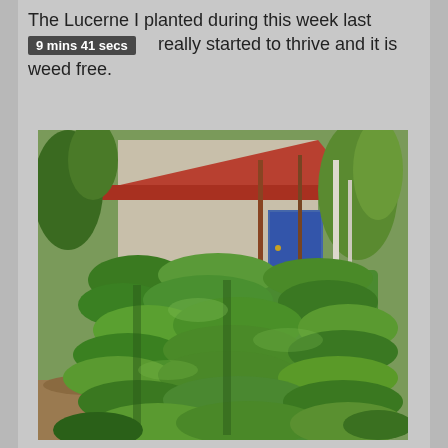The Lucerne I planted during this week last ... really started to thrive and it is weed free.
[Figure (photo): Outdoor garden photo showing dense green Lucerne (alfalfa) plants growing in rows, with a stone building with a red tiled roof and a blue door in the background, surrounded by trees and other vegetation.]